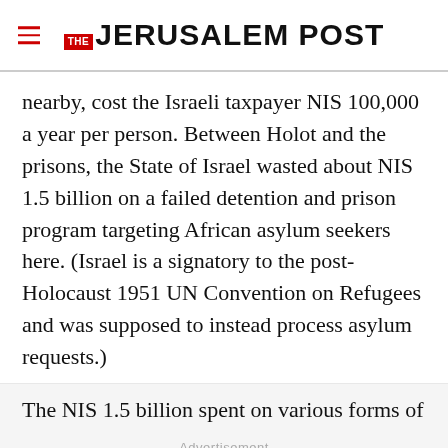THE JERUSALEM POST
nearby, cost the Israeli taxpayer NIS 100,000 a year per person. Between Holot and the prisons, the State of Israel wasted about NIS 1.5 billion on a failed detention and prison program targeting African asylum seekers here. (Israel is a signatory to the post-Holocaust 1951 UN Convention on Refugees and was supposed to instead process asylum requests.)
The NIS 1.5 billion spent on various forms of
Advertisement